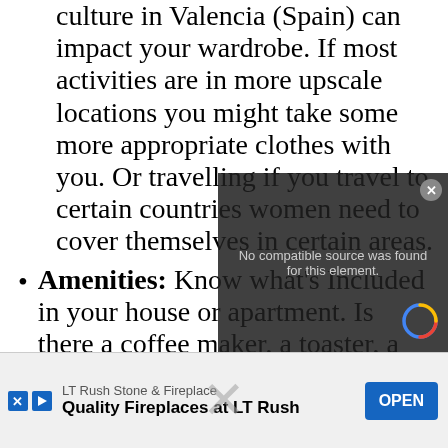culture in Valencia (Spain) can impact your wardrobe. If most activities are in more upscale locations you might take some more appropriate clothes with you. Or travelling if you travel to certain countries women need to cover themselves in certain areas.
Amenities: Know what's Included in your house or apartment. Is there a coffee maker, a toaster, a washer and dryer, an iron, what is in the kitchen, what kind of towels are there? Things that are there means you do not have to take them with you. A furnished apartment or house can mean something from a few pieces of